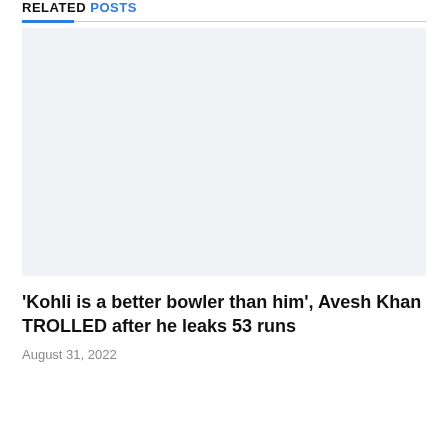RELATED POSTS
[Figure (photo): Placeholder image area for article thumbnail]
'Kohli is a better bowler than him', Avesh Khan TROLLED after he leaks 53 runs
August 31, 2022